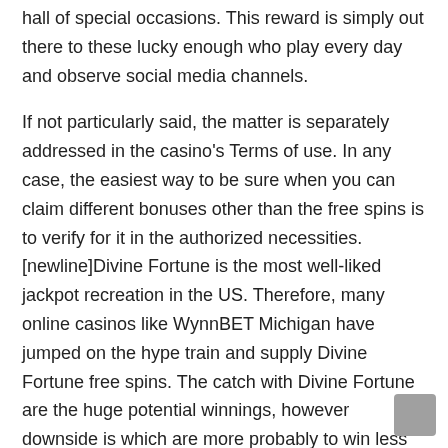hall of special occasions. This reward is simply out there to these lucky enough who play every day and observe social media channels.
If not particularly said, the matter is separately addressed in the casino's Terms of use. In any case, the easiest way to be sure when you can claim different bonuses other than the free spins is to verify for it in the authorized necessities. [newline]Divine Fortune is the most well-liked jackpot recreation in the US. Therefore, many online casinos like WynnBET Michigan have jumped on the hype train and supply Divine Fortune free spins. The catch with Divine Fortune are the huge potential winnings, however downside is which are more probably to win less in common recreation play. Some no deposit free spins bonuses even have a maximum cash out. The phrases and circumstances may for instance state that you simply can't win greater than $25,000 using the bonus.
Once you've got had your free spins, you received't have to